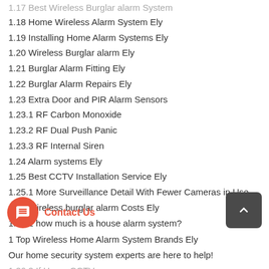1.18 Home Wireless Alarm System Ely
1.19 Installing Home Alarm Systems Ely
1.20 Wireless Burglar alarm Ely
1.21 Burglar Alarm Fitting Ely
1.22 Burglar Alarm Repairs Ely
1.23 Extra Door and PIR Alarm Sensors
1.23.1 RF Carbon Monoxide
1.23.2 RF Dual Push Panic
1.23.3 RF Internal Siren
1.24 Alarm systems Ely
1.25 Best CCTV Installation Service Ely
1.25.1 More Surveillance Detail With Fewer Cameras in Use
1.26 Wireless burglar alarm Costs Ely
1.26.1 how much is a house alarm system?
1 Top Wireless Home Alarm System Brands Ely
Our home security system experts are here to help!
1.26.2 If Home CCTV...